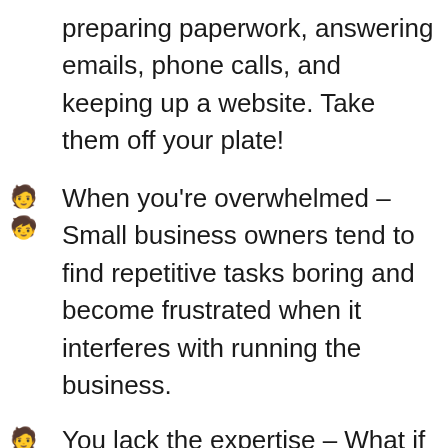preparing paperwork, answering emails, phone calls, and keeping up a website. Take them off your plate!
When you're overwhelmed – Small business owners tend to find repetitive tasks boring and become frustrated when it interferes with running the business.
You lack the expertise – What if you want to try out a new form of advertising? or you want something